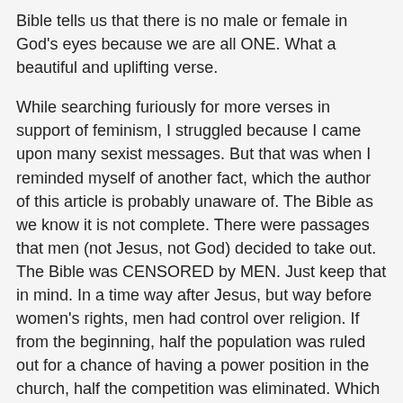Bible tells us that there is no male or female in God's eyes because we are all ONE. What a beautiful and uplifting verse.
While searching furiously for more verses in support of feminism, I struggled because I came upon many sexist messages. But that was when I reminded myself of another fact, which the author of this article is probably unaware of. The Bible as we know it is not complete. There were passages that men (not Jesus, not God) decided to take out. The Bible was CENSORED by MEN. Just keep that in mind. In a time way after Jesus, but way before women's rights, men had control over religion. If from the beginning, half the population was ruled out for a chance of having a power position in the church, half the competition was eliminated. Which gave men a huge advantage. Fortunately, I know the Methodist and Unity churches don't apply the verses against women working in the church. I've always thought highly of these denominations.
When I stumbled upon a verse often used in weddings, I thought of it with a new meaning tonight. "What therefore